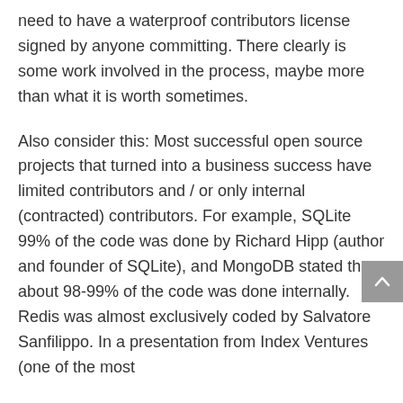need to have a waterproof contributors license signed by anyone committing. There clearly is some work involved in the process, maybe more than what it is worth sometimes.
Also consider this: Most successful open source projects that turned into a business success have limited contributors and / or only internal (contracted) contributors. For example, SQLite 99% of the code was done by Richard Hipp (author and founder of SQLite), and MongoDB stated that about 98-99% of the code was done internally. Redis was almost exclusively coded by Salvatore Sanfilippo. In a presentation from Index Ventures (one of the most